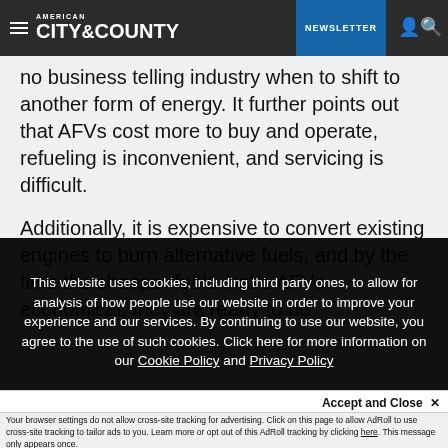AMERICAN CITY & COUNTY | NEWSLETTER
no business telling industry when to shift to another form of energy. It further points out that AFVs cost more to buy and operate, refueling is inconvenient, and servicing is difficult.
Additionally, it is expensive to convert existing engines to burn alternative fuels, and by the time the cheaper fuels make AFVs economical, they are ready to be
This website uses cookies, including third party ones, to allow for analysis of how people use our website in order to improve your experience and our services. By continuing to use our website, you agree to the use of such cookies. Click here for more information on our Cookie Policy and Privacy Policy
Accept and Close ✕
Your browser settings do not allow cross-site tracking for advertising. Click on this page to allow AdRoll to use cross-site tracking to tailor ads to you. Learn more or opt out of this AdRoll tracking by clicking here. This message only appears once.